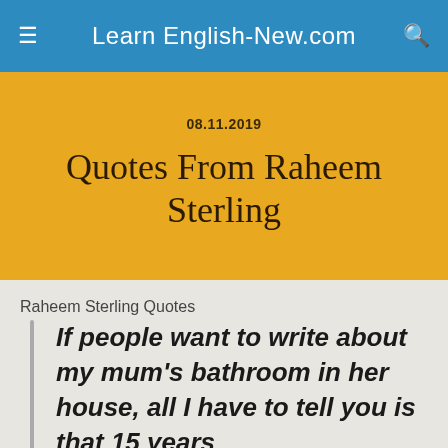Learn English-New.com
08.11.2019
Quotes From Raheem Sterling
Raheem Sterling Quotes
If people want to write about my mum's bathroom in her house, all I have to tell you is that 15 years